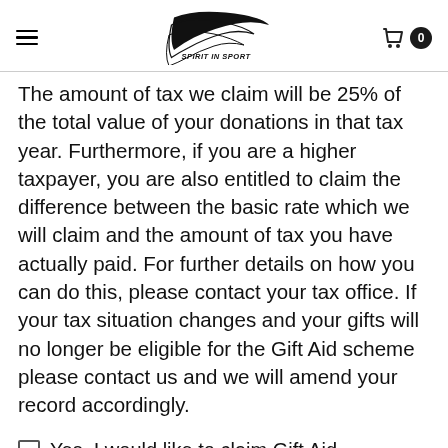Spirit in Sport
The amount of tax we claim will be 25% of the total value of your donations in that tax year. Furthermore, if you are a higher taxpayer, you are also entitled to claim the difference between the basic rate which we will claim and the amount of tax you have actually paid. For further details on how you can do this, please contact your tax office. If your tax situation changes and your gifts will no longer be eligible for the Gift Aid scheme please contact us and we will amend your record accordingly.
Yes, I would like to claim Gift Aid